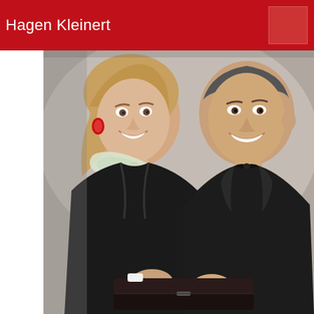Hagen Kleinert
[Figure (photo): Two formally dressed people smiling; a woman with red earrings wearing a black outfit with a light-colored silk scarf, and a man in a black tuxedo with a bow tie, holding a dark presentation case or award box together.]